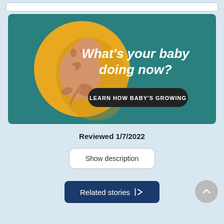[Figure (illustration): Promotional banner with teal background showing an illustration of a fetus in a yellow circle with text 'What's your baby doing now?' and a button 'LEARN HOW BABY'S GROWING']
Reviewed 1/7/2022
Show description
Related stories